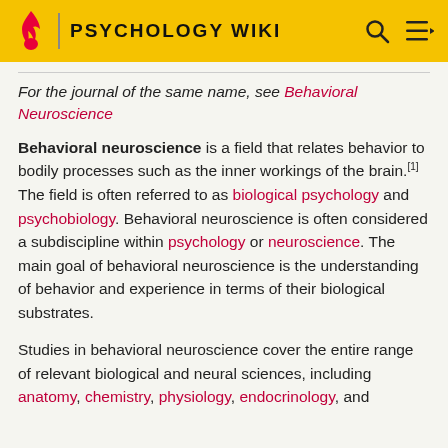PSYCHOLOGY WIKI
For the journal of the same name, see Behavioral Neuroscience
Behavioral neuroscience is a field that relates behavior to bodily processes such as the inner workings of the brain.[1] The field is often referred to as biological psychology and psychobiology. Behavioral neuroscience is often considered a subdiscipline within psychology or neuroscience. The main goal of behavioral neuroscience is the understanding of behavior and experience in terms of their biological substrates.
Studies in behavioral neuroscience cover the entire range of relevant biological and neural sciences, including anatomy, chemistry, physiology, endocrinology, and